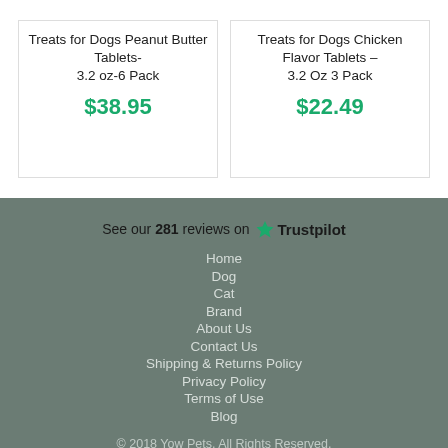Treats for Dogs Peanut Butter Tablets- 3.2 oz-6 Pack
$38.95
Treats for Dogs Chicken Flavor Tablets – 3.2 Oz 3 Pack
$22.49
See our 281 reviews on Trustpilot
Home
Dog
Cat
Brand
About Us
Contact Us
Shipping & Returns Policy
Privacy Policy
Terms of Use
Blog
© 2018 Yow Pets. All Rights Reserved.